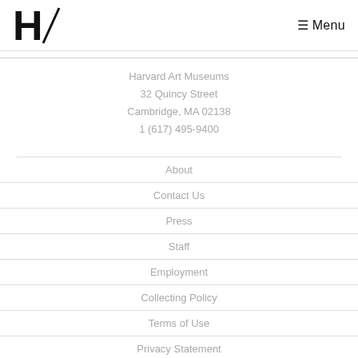H/ Menu
Harvard Art Museums
32 Quincy Street
Cambridge, MA 02138
1 (617) 495-9400
About
Contact Us
Press
Staff
Employment
Collecting Policy
Terms of Use
Privacy Statement
Digital Accessibility
FAQs
Special Event Rentals